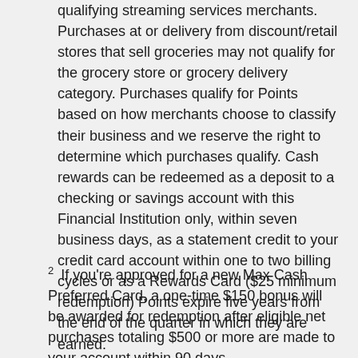qualifying streaming services merchants. Purchases at or delivery from discount/retail stores that sell groceries may not qualify for the grocery store or grocery delivery category. Purchases qualify for Points based on how merchants choose to classify their business and we reserve the right to determine which purchases qualify. Cash rewards can be redeemed as a deposit to a checking or savings account with this Financial Institution only, within seven business days, as a statement credit to your credit card account within one to two billing cycles or as a Rewards Card ($25 minimum redemption) Points expire five years from the end of the quarter in which they are earned.
2  If you're approved for a new Max Cash Preferred Card, a one-time $150 bonus will be awarded for redemption after eligible net purchases totaling $500 or more are made to your account within 90 days